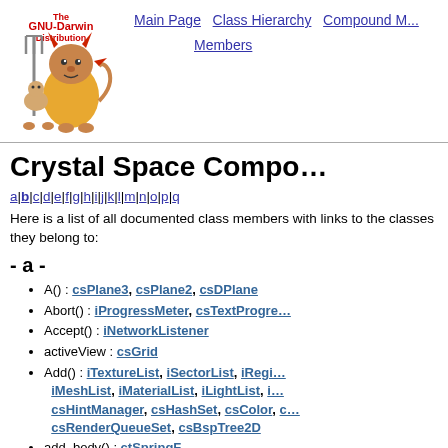[Figure (logo): GNU-Darwin Distribution logo with cartoon devil mascot holding a pitchfork]
Main Page | Class Hierarchy | Compound Members
Crystal Space Compound Members
a | b | c | d | e | f | g | h | i | j | k | l | m | n | o | p |
Here is a list of all documented class members with links to the classes they belong to:
- a -
A() : csPlane3, csPlane2, csDPlane
Abort() : iProgressMeter, csTextProgressMeter
Accept() : iNetworkListener
activeView : csGrid
Add() : iTextureList, iSectorList, iRegionList, iMeshList, iMaterialList, iLightList, csHintManager, csHashSet, csColor, csRenderQueueSet, csBspTree2D
add_body() : ctSpringF
add_link() : ctLinkList